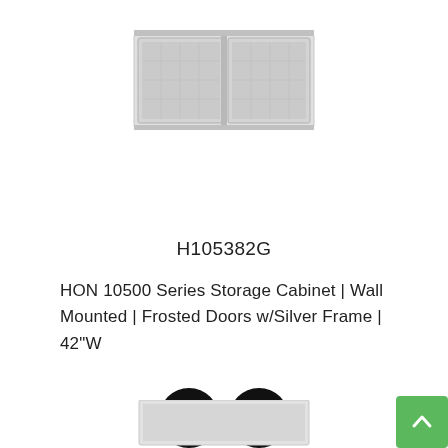[Figure (photo): HON 10500 Series Wall Mounted Storage Cabinet product photo, light gray/white cabinet with frosted glass doors and silver frame, viewed from slight angle]
H105382G
HON 10500 Series Storage Cabinet | Wall Mounted | Frosted Doors w/Silver Frame | 42"W
[Figure (illustration): Two circular black buttons: a download/arrow-down icon button and a checkmark icon button]
[Figure (illustration): Green rounded square scroll-to-top button with up arrow icon in bottom right corner]
[Figure (photo): Partial product image visible at bottom of page, cropped HON storage cabinet]